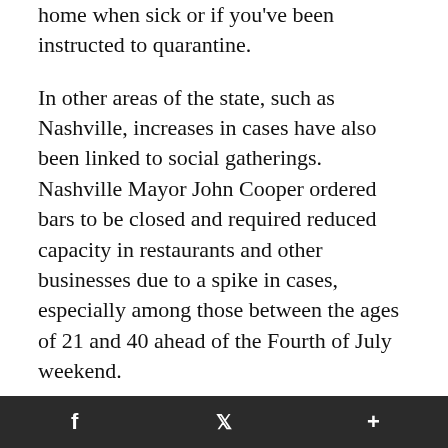home when sick or if you've been instructed to quarantine.
In other areas of the state, such as Nashville, increases in cases have also been linked to social gatherings. Nashville Mayor John Cooper ordered bars to be closed and required reduced capacity in restaurants and other businesses due to a spike in cases, especially among those between the ages of 21 and 40 ahead of the Fourth of July weekend.
Earlier this month, Hamilton County officials also linked an increase in cases to businesses
f    𝕏    +